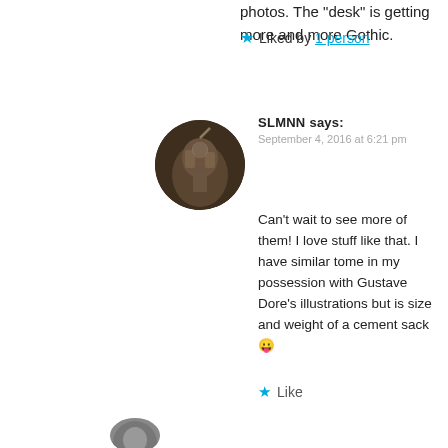photos. The “desk” is getting more and more Gothic.
★ Liked by 1 person
[Figure (photo): Circular avatar showing a miniature figurine of an armored warrior against a dark background]
SLMNN says:
September 4, 2016 at 6:21 pm
Can’t wait to see more of them! I love stuff like that. I have similar tome in my possession with Gustave Dore’s illustrations but is size and weight of a cement sack 😛
★ Like